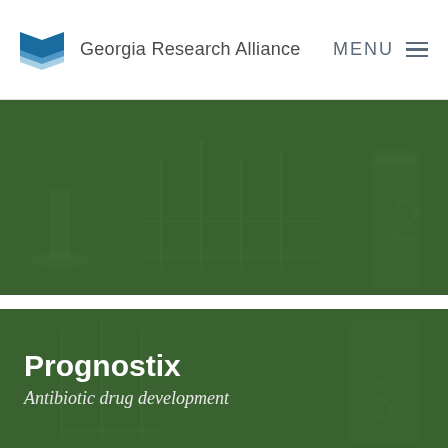Georgia Research Alliance
[Figure (photo): Green-tinted banner image showing laboratory glassware (test tubes, beakers) with a dark green overlay]
Prognostix
Antibiotic drug development